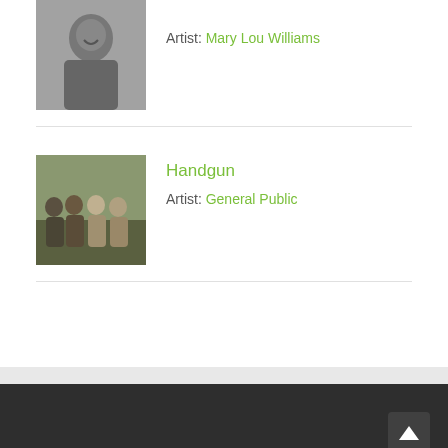[Figure (photo): Black and white photo of Mary Lou Williams smiling, appearing to be at a piano]
Artist: Mary Lou Williams
[Figure (photo): Color photo of the band General Public, four young men standing outdoors]
Handgun
Artist: General Public